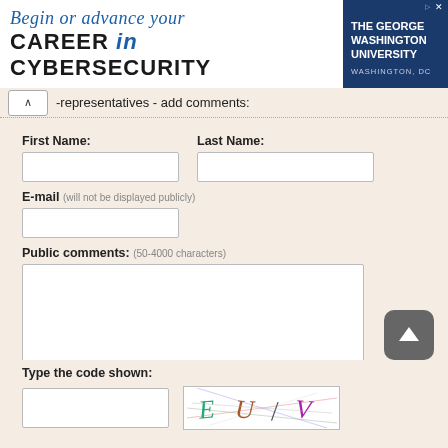[Figure (other): Banner advertisement for The George Washington University cybersecurity program. Text reads 'Begin or advance your CAREER in CYBERSECURITY' with university logo on right.]
-representatives - add comments:
First Name:
Last Name:
E-mail (will not be displayed publicly)
Public comments: (50-4000 characters)
Type the code shown: